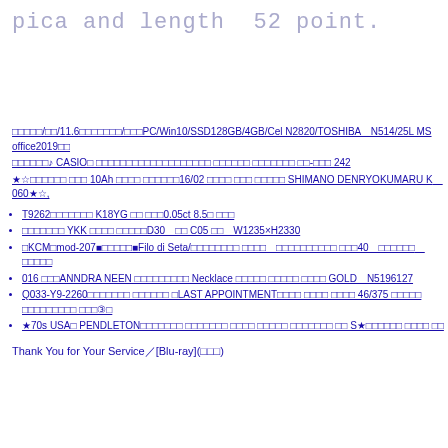pica and length  52 point.
□□□□□/□□/11.6□□□□□□□/□□□PC/Win10/SSD128GB/4GB/Cel N2820/TOSHIBA　N514/25L MS office2019□□ □□□□□□♪ CASIO□ □□□□□□□□□□□□□□□□□□□ □□□□□□ □□□□□□□ □□-□□□ 242 ★☆□□□□□□ □□□ 10Ah □□□□ □□□□□□16/02 □□□□ □□□ □□□□□ SHIMANO DENRYOKUMARU K　060★☆,
T9262□□□□□□□ K18YG □□ □□□0.05ct 8.5□ □□□
□□□□□□□ YKK □□□□ □□□□□D30　□□ C05 □□　W1235×H2330
□KCM□mod-207■□□□□□■Filo di Seta/□□□□□□□□ □□□□　□□□□□□□□□□ □□□40　□□□□□□　□□□□□
016 □□□ANNDRA NEEN □□□□□□□□□ Necklace □□□□□ □□□□□ □□□□ GOLD　N5196127
Q033-Y9-2260□□□□□□□ □□□□□□ □LAST APPOINTMENT□□□□ □□□□ □□□□ 46/375 □□□□□ □□□□□□□□□ □□□③□
★70s USA□ PENDLETON□□□□□□□ □□□□□□□ □□□□ □□□□□ □□□□□□□ □□ S★□□□□□□ □□□□ □□
Thank You for Your Service／[Blu-ray](□□□)